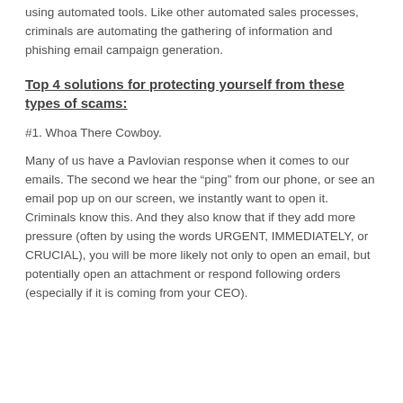using automated tools. Like other automated sales processes, criminals are automating the gathering of information and phishing email campaign generation.
Top 4 solutions for protecting yourself from these types of scams:
#1. Whoa There Cowboy.
Many of us have a Pavlovian response when it comes to our emails. The second we hear the “ping” from our phone, or see an email pop up on our screen, we instantly want to open it. Criminals know this. And they also know that if they add more pressure (often by using the words URGENT, IMMEDIATELY, or CRUCIAL), you will be more likely not only to open an email, but potentially open an attachment or respond following orders (especially if it is coming from your CEO).